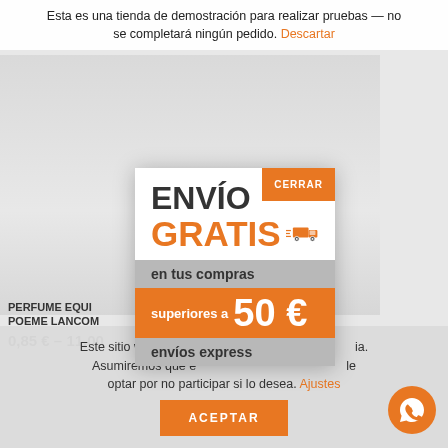Esta es una tienda de demostración para realizar pruebas — no se completará ningún pedido. Descartar
[Figure (photo): Product perfume bottles in background (Poème Lancôme)]
CERRAR
ENVÍO GRATIS
en tus compras
superiores a 50 €
envíos express
PERFUME EQUIV... POEME LANCOM...
0,85 € – 11,00
Este sitio web utiliza... ia. Asumiremos que e... le optar por no participar si lo desea. Ajustes
ACEPTAR